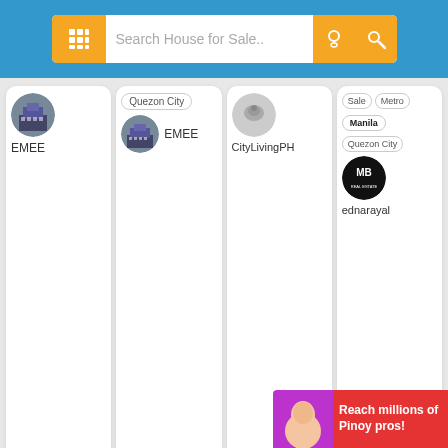[Figure (screenshot): Search bar with grid icon, placeholder 'Search House for Sale..', location pin icon, and search icon on blue background]
[Figure (screenshot): Card 1: avatar of building with text EMEE]
[Figure (screenshot): Card 2: tag 'Quezon City', avatar building, text EMEE]
[Figure (screenshot): Card 3: avatar bird icon, text CityLivingPH]
[Figure (screenshot): Card 4: tags Sale, Metro Manila, Quezon City, MB logo avatar, text ednarayal]
[Figure (screenshot): Pagination: << < 3 4 5(active) 6 7 > >>]
ABOUT REAL ESTATE/HOUSE FOR SALE IN QUEZON CITY, METRO MANILA
Listings in Real Estate/House for Sale are posted by website members. Anyone can post in this section as long as it serves the Philippine market. Posting in Real Estate/House for Sale is FREE. Listings not located in QUEZON CITY, METRO MANILA will be removed and members will...